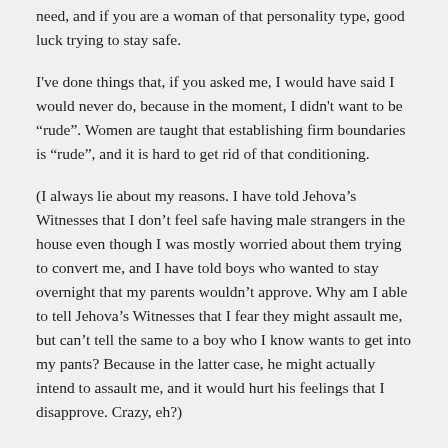need, and if you are a woman of that personality type, good luck trying to stay safe.
I've done things that, if you asked me, I would have said I would never do, because in the moment, I didn't want to be "rude". Women are taught that establishing firm boundaries is "rude", and it is hard to get rid of that conditioning.
(I always lie about my reasons. I have told Jehova's Witnesses that I don't feel safe having male strangers in the house even though I was mostly worried about them trying to convert me, and I have told boys who wanted to stay overnight that my parents wouldn't approve. Why am I able to tell Jehova's Witnesses that I fear they might assault me, but can't tell the same to a boy who I know wants to get into my pants? Because in the latter case, he might actually intend to assault me, and it would hurt his feelings that I disapprove. Crazy, eh?)
@Elisa:
"Wanting to sexually assault her after having met her on the street does not make him automatically a serial killer, does it?"